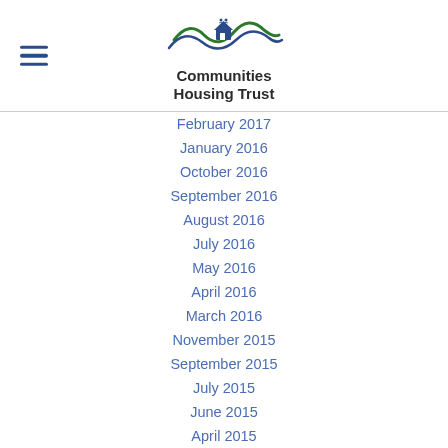[Figure (logo): Communities Housing Trust logo with wave graphic and house icon]
February 2017
January 2016
October 2016
September 2016
August 2016
July 2016
May 2016
April 2016
March 2016
November 2015
September 2015
July 2015
June 2015
April 2015
January 2015
December 2014
November 2014
October 2014